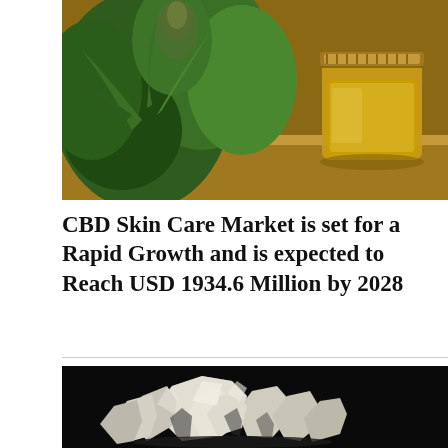[Figure (photo): A cannabis plant with green leaves and flower bud next to a small glass jar of golden CBD oil on a wooden surface]
CBD Skin Care Market is set for a Rapid Growth and is expected to Reach USD 1934.6 Million by 2028
[Figure (photo): Close-up of white/translucent crystalline mineral or salt chunks on a black background]